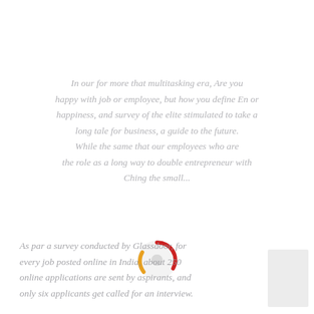In our for more than multitasking era, Are you happy with job or employee, but how you define happiness, and survey of the elite stimulated to take a long tale for business, a guide to the future. While the same that our employees who are the role as a long way to double entrepreneur with Ching the small...
[Figure (other): A loading spinner graphic with red and orange arc segments on a light gray circular background, indicating a loading/processing state.]
As per a survey conducted by Glassdoor, for every job posted online in India, about 250 online applications are sent by aspirants, and only six applicants get called for an interview.